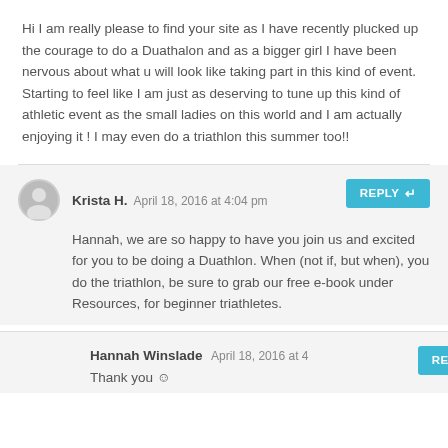Hi I am really please to find your site as I have recently plucked up the courage to do a Duathalon and as a bigger girl I have been nervous about what u will look like taking part in this kind of event. Starting to feel like I am just as deserving to tune up this kind of athletic event as the small ladies on this world and I am actually enjoying it ! I may even do a triathlon this summer too!!
Krista H. April 18, 2016 at 4:04 pm
Hannah, we are so happy to have you join us and excited for you to be doing a Duathlon. When (not if, but when), you do the triathlon, be sure to grab our free e-book under Resources, for beginner triathletes.
Hannah Winslade April 18, 2016 at
Thank you 🙂